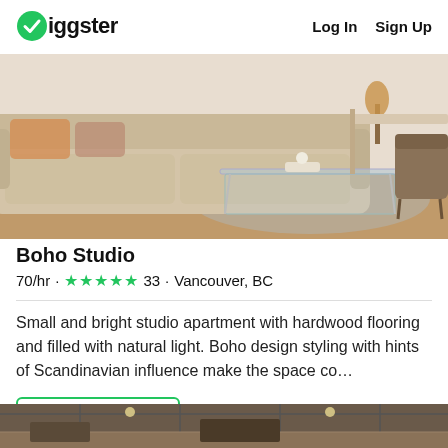Giggster   Log In   Sign Up
[Figure (photo): Interior photo of a living room with a beige sofa, glass coffee table, area rug, and wooden chair. Warm, natural light fills the space.]
Boho Studio
70/hr · ★★★★★ 33 · Vancouver, BC
Small and bright studio apartment with hardwood flooring and filled with natural light. Boho design styling with hints of Scandinavian influence make the space co…
View Location
[Figure (photo): Partial view of another listing's interior photo at the bottom of the page.]